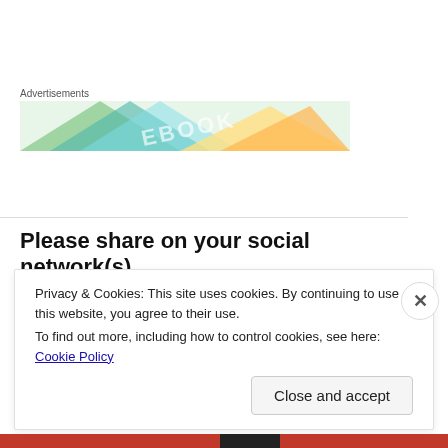[Figure (other): Advertisement banner with colorful book cover imagery and text 'Advertisements']
Please share on your social network(s).
[Figure (infographic): Row of social share buttons: Facebook, Twitter, Tumblr, LinkedIn, Reddit, Pinterest, Print, Email]
Privacy & Cookies: This site uses cookies. By continuing to use this website, you agree to their use.
To find out more, including how to control cookies, see here: Cookie Policy
Close and accept